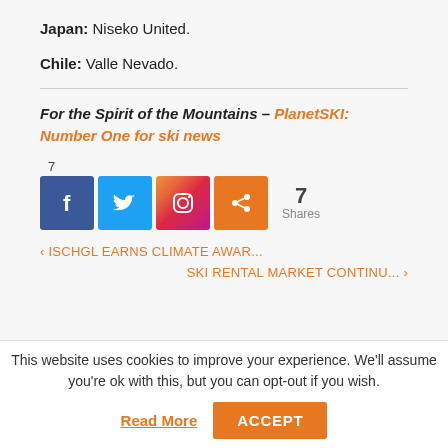Japan: Niseko United.
Chile: Valle Nevado.
For the Spirit of the Mountains – PlanetSKI: Number One for ski news
[Figure (infographic): Social share buttons: Facebook (f), Twitter (bird icon), Instagram (camera icon), Share (< icon), with 7 Shares count]
‹ ISCHGL EARNS CLIMATE AWAR...
SKI RENTAL MARKET CONTINU... ›
This website uses cookies to improve your experience. We'll assume you're ok with this, but you can opt-out if you wish.
Read More   ACCEPT